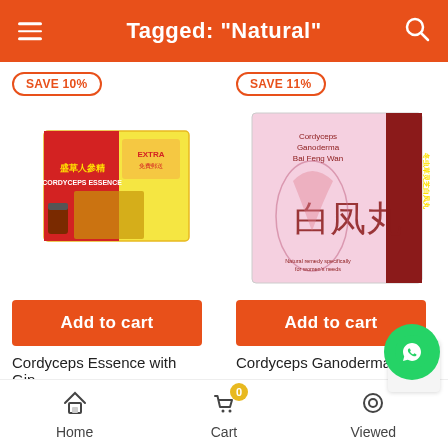Tagged: "Natural"
SAVE 10%
SAVE 11%
[Figure (photo): Cordyceps Essence product box with ginseng imagery]
[Figure (photo): Cordyceps Ganoderma Bai Feng Wan product box with phoenix imagery]
Add to cart
Add to cart
Cordyceps Essence with Gin...
Cordyceps Ganoderma Bai ...
Home   Cart   Viewed